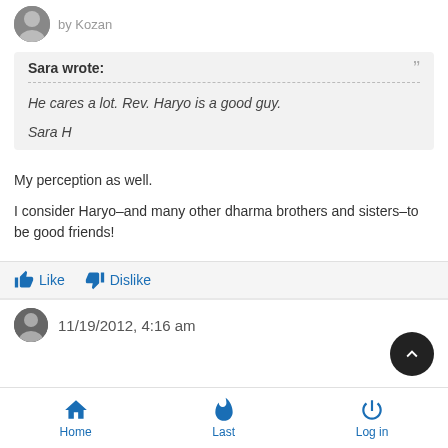by Kozan
Sara wrote:
He cares a lot. Rev. Haryo is a good guy.

Sara H
My perception as well.
I consider Haryo–and many other dharma brothers and sisters–to be good friends!
Like  Dislike
11/19/2012, 4:16 am
Home  Last  Log in